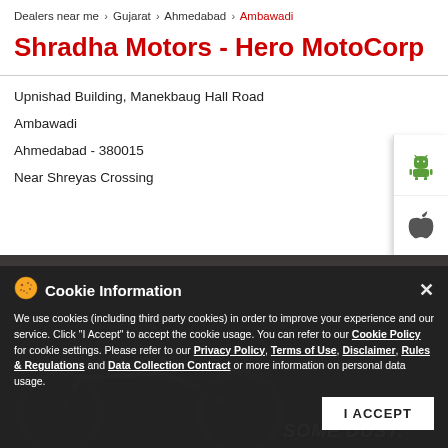Dealers near me > Gujarat > Ahmedabad > Ambawadi
Shradha Motors - Hero MotoCorp
Upnishad Building, Manekbaug Hall Road
Ambawadi
Ahmedabad - 380015
Near Shreyas Crossing
[Figure (screenshot): Cookie Information overlay banner on dark background with cookie icon, close button, policy links (Cookie Policy, Privacy Policy, Terms of Use, Disclaimer, Rules & Regulations, Data Collection Contract) and I ACCEPT button. Below banner is a partial photo of motorcycle.]
We use cookies (including third party cookies) in order to improve your experience and our service. Click "I Accept" to accept the cookie usage. You can refer to our Cookie Policy for cookie settings. Please refer to our Privacy Policy, Terms of Use, Disclaimer, Rules & Regulations and Data Collection Contract or more information on personal data usage.